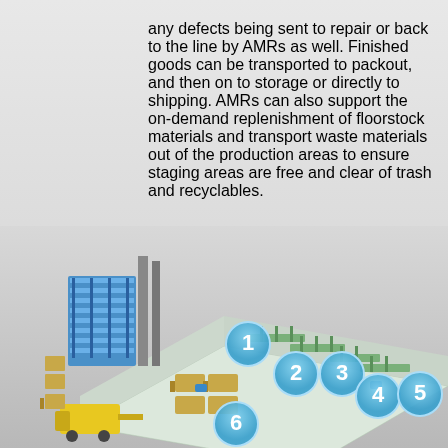any defects being sent to repair or back to the line by AMRs as well. Finished goods can be transported to packout, and then on to storage or directly to shipping. AMRs can also support the on-demand replenishment of floorstock materials and transport waste materials out of the production areas to ensure staging areas are free and clear of trash and recyclables.
[Figure (illustration): 3D isometric illustration of a warehouse/manufacturing facility floor plan showing numbered blue circular markers (1-6) at various positions on the floor. The facility includes automated storage and retrieval systems on the left (blue racking), conveyor lines, workstations, pallets, forklifts, and a yellow loading dock vehicle at the bottom left.]